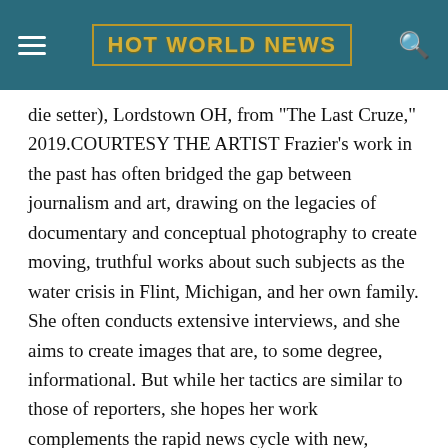HOT WORLD NEWS
die setter), Lordstown OH, from "The Last Cruze," 2019.COURTESY THE ARTIST Frazier's work in the past has often bridged the gap between journalism and art, drawing on the legacies of documentary and conceptual photography to create moving, truthful works about such subjects as the water crisis in Flint, Michigan, and her own family. She often conducts extensive interviews, and she aims to create images that are, to some degree, informational. But while her tactics are similar to those of reporters, she hopes her work complements the rapid news cycle with new, previously untold narratives—something she accomplishes through long-term, sustained collaborations with the people who appear before her lens. "Once I turn